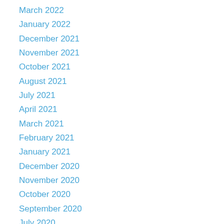March 2022
January 2022
December 2021
November 2021
October 2021
August 2021
July 2021
April 2021
March 2021
February 2021
January 2021
December 2020
November 2020
October 2020
September 2020
July 2020
June 2020
May 2020
April 2020
March 2020